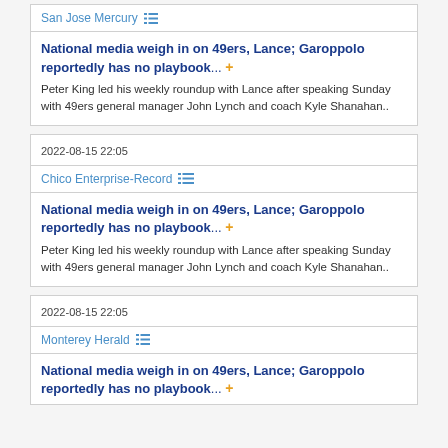San Jose Mercury
National media weigh in on 49ers, Lance; Garoppolo reportedly has no playbook... +
Peter King led his weekly roundup with Lance after speaking Sunday with 49ers general manager John Lynch and coach Kyle Shanahan..
2022-08-15 22:05
Chico Enterprise-Record
National media weigh in on 49ers, Lance; Garoppolo reportedly has no playbook... +
Peter King led his weekly roundup with Lance after speaking Sunday with 49ers general manager John Lynch and coach Kyle Shanahan..
2022-08-15 22:05
Monterey Herald
National media weigh in on 49ers, Lance; Garoppolo reportedly has no playbook... +